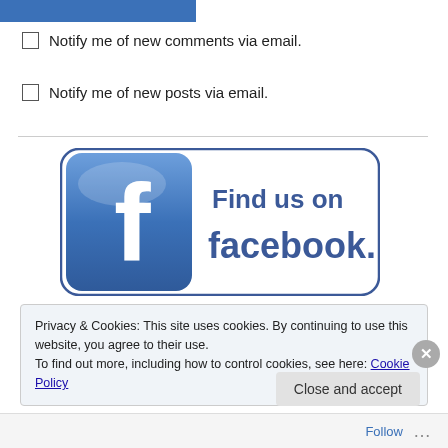[Figure (other): Blue horizontal bar at top left]
Notify me of new comments via email.
Notify me of new posts via email.
[Figure (logo): Find us on Facebook badge with Facebook logo icon on left and 'Find us on facebook.' text on right]
Privacy & Cookies: This site uses cookies. By continuing to use this website, you agree to their use. To find out more, including how to control cookies, see here: Cookie Policy
Close and accept
Follow ...